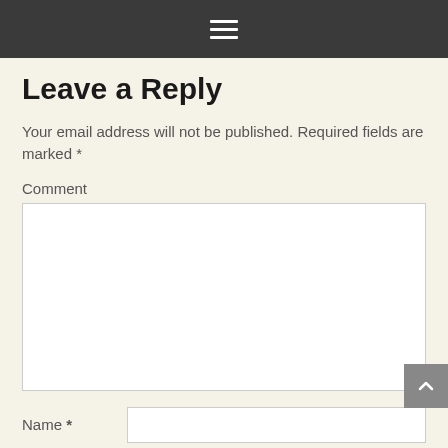≡
Leave a Reply
Your email address will not be published. Required fields are marked *
Comment
Name *
Email *